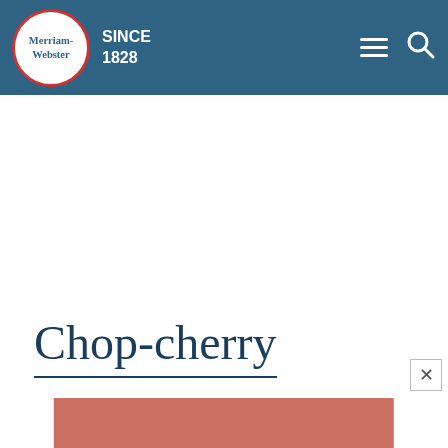Merriam-Webster SINCE 1828
Chop-cherry
[Figure (illustration): Partial view of a reddish-brown advertisement or image panel at the bottom of the page]